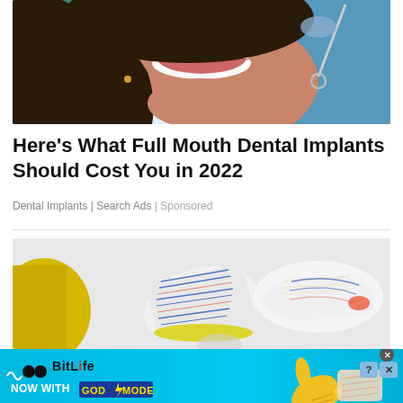[Figure (photo): Woman smiling in dental chair with dentist tools visible, teal/blue background]
Here's What Full Mouth Dental Implants Should Cost You in 2022
Dental Implants | Search Ads | Sponsored
[Figure (photo): Athletic sneakers/running shoes displayed on light gray background, top-down and side views]
[Figure (infographic): BitLife advertisement banner: teal background, BitLife logo with dots, text NOW WITH GOD MODE, thumbs up graphic, close and help buttons]